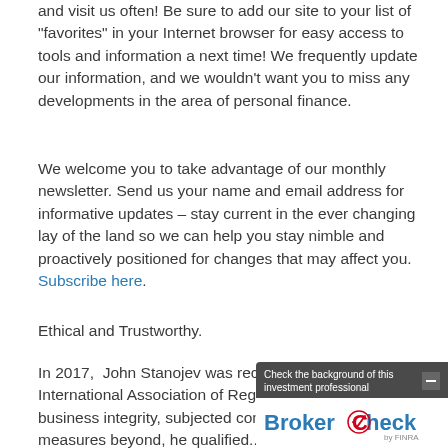We hope you take advantage of our online resources and visit us often!  Be sure to add our site to your list of "favorites" in your Internet browser for easy access to tools and information a next time!  We frequently update our information, and we wouldn't want you to miss any developments in the area of personal finance.
We welcome you to take advantage of our monthly newsletter.  Send us your name and email address for informative updates – stay current in the ever changing lay of the land so we can help you stay nimble and proactively positioned for changes that may affect you.  Subscribe here.
Ethical and Trustworthy.
In 2017,  John Stanojev was recognized by the International Association of Registered... Consultants for business integrity... subjected to completion of other measures beyond, he qualified... and was awarded the credential of Master
[Figure (logo): BrokerCheck by FINRA overlay widget with dark header saying 'Check the background of this investment professional' and minus button, with BrokerCheck logo on white background]